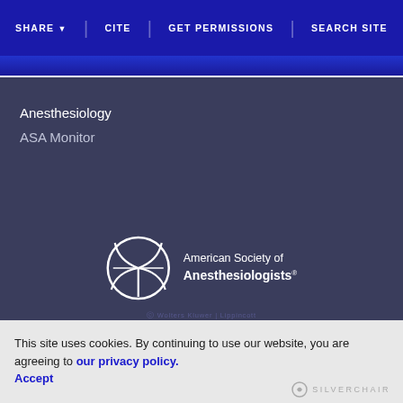SHARE  CITE  GET PERMISSIONS  SEARCH SITE
Anesthesiology
ASA Monitor
[Figure (logo): American Society of Anesthesiologists circular logo with radiating lines, with text 'American Society of Anesthesiologists']
This site uses cookies. By continuing to use our website, you are agreeing to our privacy policy. Accept